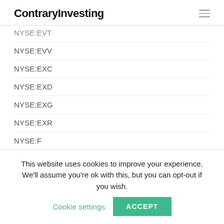ContraryInvesting
NYSE:EVT
NYSE:EVV
NYSE:EXC
NYSE:EXD
NYSE:EXG
NYSE:EXR
NYSE:F
NYSE:FAF
NYSE:FAM
This website uses cookies to improve your experience. We'll assume you're ok with this, but you can opt-out if you wish. Cookie settings ACCEPT